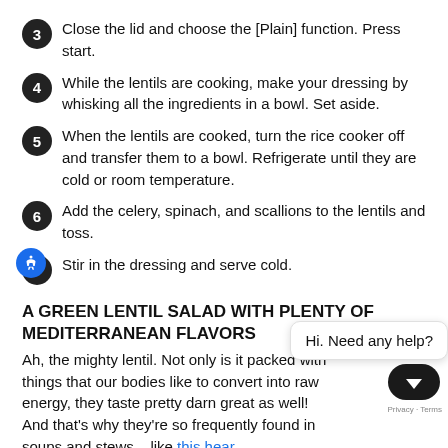3 Close the lid and choose the [Plain] function. Press start.
4 While the lentils are cooking, make your dressing by whisking all the ingredients in a bowl. Set aside.
5 When the lentils are cooked, turn the rice cooker off and transfer them to a bowl. Refrigerate until they are cold or room temperature.
6 Add the celery, spinach, and scallions to the lentils and toss.
7 Stir in the dressing and serve cold.
A GREEN LENTIL SALAD WITH PLENTY OF MEDITERRANEAN FLAVORS
Ah, the mighty lentil. Not only is it packed with things that our bodies like to convert into raw energy, they taste pretty darn great as well! And that's why they're so frequently found in soups and stews – like this hear... soup